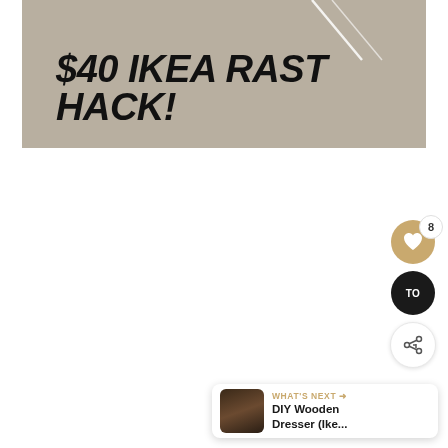[Figure (photo): Hero banner with taupe/beige background and diagonal white line accent. Bold black italic text reads '$40 IKEA RAST HACK!']
$40 IKEA RAST HACK!
[Figure (infographic): UI widget cluster: golden heart icon with badge showing '8', black circular 'TO' button, white share icon button]
[Figure (screenshot): What's Next panel showing thumbnail of wooden dresser and text: 'WHAT'S NEXT → DIY Wooden Dresser (Ike...']